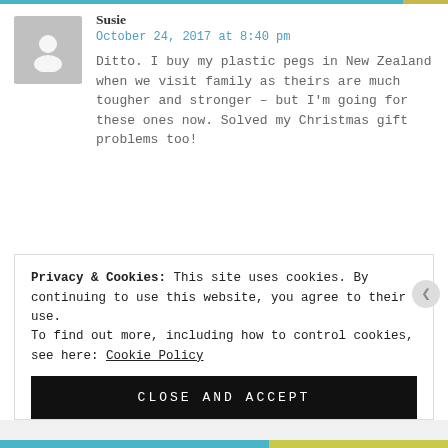Susie
October 24, 2017 at 8:40 pm
Ditto. I buy my plastic pegs in New Zealand when we visit family as theirs are much tougher and stronger – but I'm going for these ones now. Solved my Christmas gift problems too!
Privacy & Cookies: This site uses cookies. By continuing to use this website, you agree to their use.
To find out more, including how to control cookies, see here: Cookie Policy
CLOSE AND ACCEPT